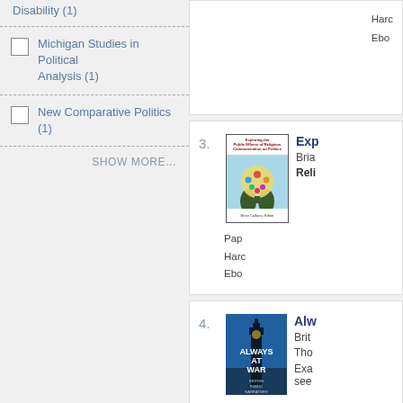Disability (1)
Michigan Studies in Political Analysis (1)
New Comparative Politics (1)
SHOW MORE...
[Figure (illustration): Book cover: Exploring the Public Effects of Religious Communication on Politics, with hands holding a globe of colorful figures, Brian Calfano Editor]
[Figure (illustration): Book cover: Always at War - British Public Narratives of War, dark blue cover with Big Ben silhouette]